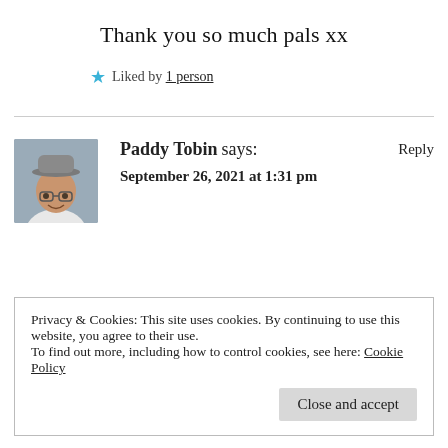Thank you so much pals xx
★ Liked by 1 person
Paddy Tobin says:
September 26, 2021 at 1:31 pm
Privacy & Cookies: This site uses cookies. By continuing to use this website, you agree to their use.
To find out more, including how to control cookies, see here: Cookie Policy